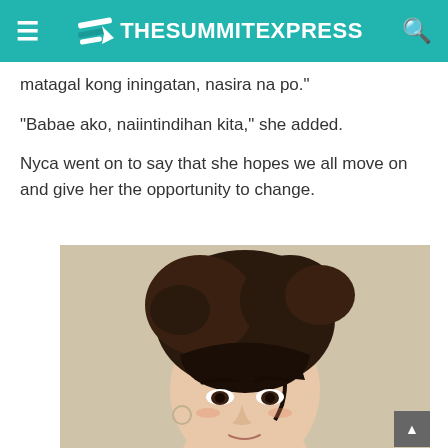TheSummitExpress
matagal kong iningatan, nasira na po."
"Babae ako, naiintindihan kita," she added.
Nyca went on to say that she hopes we all move on and give her the opportunity to change.
[Figure (photo): Close-up photo of a young Asian woman with dark hair styled in a messy updo with bangs, touching her cheek with one finger, wearing a hoop earring, against a beige/cream background.]